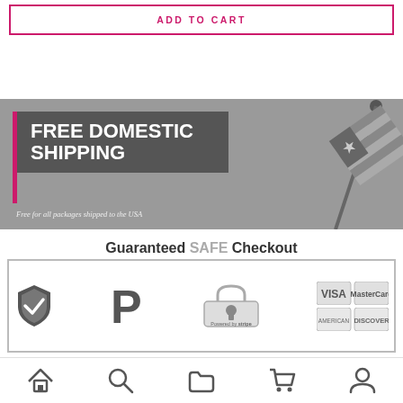[Figure (other): ADD TO CART button with pink/magenta border and text]
[Figure (infographic): Free Domestic Shipping banner with dark box text and American flag graphic on right. Text reads: FREE DOMESTIC SHIPPING - Free for all packages shipped to the USA]
[Figure (infographic): Guaranteed SAFE Checkout banner with PayPal, Stripe, Visa, MasterCard, American Express, Discover logos and a shield checkmark icon]
[Figure (other): Bottom navigation bar with home, search, folder, cart, and user icons]